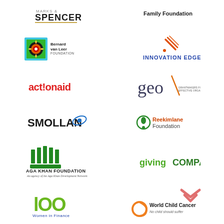[Figure (logo): Marks & Spencer logo (M&S SPENCER text)]
[Figure (logo): Family Foundation text logo]
[Figure (logo): Bernard van Leer Foundation logo with circular emblem]
[Figure (logo): Innovation Edge logo with diagonal lines]
[Figure (logo): ActionAid logo in red]
[Figure (logo): GEO Grantmakers for Effective Organizations logo]
[Figure (logo): Smollan logo with orbital ring]
[Figure (logo): Reekimlane Foundation logo with green circle]
[Figure (logo): Aga Khan Foundation logo with green pillars]
[Figure (logo): Giving Compass logo in green]
[Figure (logo): 100 Women in Finance logo]
[Figure (logo): World Child Cancer logo with salmon chevron]
[Figure (logo): Circular logo (partially visible)]
[Figure (logo): United World Schools logo (partially visible)]